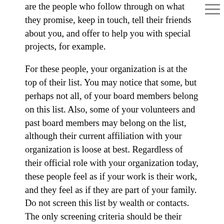are the people who follow through on what they promise, keep in touch, tell their friends about you, and offer to help you with special projects, for example.
For these people, your organization is at the top of their list. You may notice that some, but perhaps not all, of your board members belong on this list. Also, some of your volunteers and past board members may belong on the list, although their current affiliation with your organization is loose at best. Regardless of their official role with your organization today, these people feel as if your work is their work, and they feel as if they are part of your family. Do not screen this list by wealth or contacts. The only screening criteria should be their demonstrated passion and follow-through.
Now, step back and look at your list. What are the common attributes of the people you have named? Write